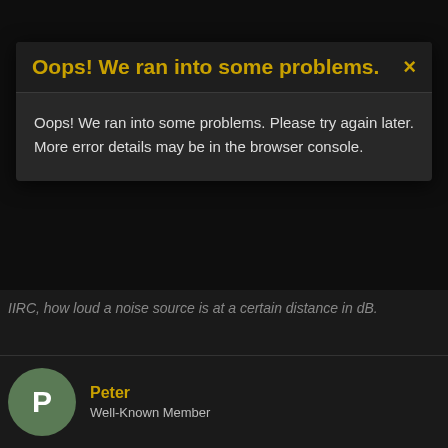[Figure (screenshot): Error modal dialog with yellow title 'Oops! We ran into some problems.' and body text about trying again later and browser console]
IIRC, how loud a noise source is at a certain distance in dB.
Peter
Well-Known Member
This site uses cookies to help personalise content, tailor your experience and to keep you logged in if you register.
By continuing to use this site, you are consenting to our use of cookies.
✓ Accept   Learn more...
Senior Team Emeritus   Premium Member
Jun 20, 2005
There are tons of units, but the standard is how loud a noise source is at a certain distance in dB.